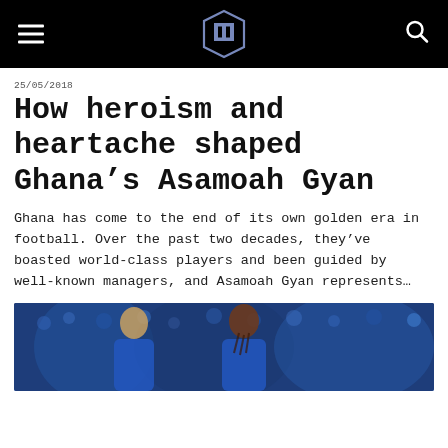[hamburger menu] [logo] [search icon]
25/05/2018
How heroism and heartache shaped Ghana's Asamoah Gyan
Ghana has come to the end of its own golden era in football. Over the past two decades, they've boasted world-class players and been guided by well-known managers, and Asamoah Gyan represents...
[Figure (photo): Photo of two football players, one with braided hair, in blue jerseys, crowded stadium background]